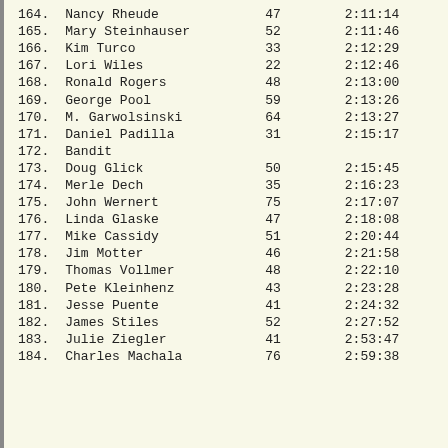| Place | Name | Age | Time |
| --- | --- | --- | --- |
| 164. | Nancy Rheude | 47 | 2:11:14 |
| 165. | Mary Steinhauser | 52 | 2:11:46 |
| 166. | Kim Turco | 33 | 2:12:29 |
| 167. | Lori Wiles | 22 | 2:12:46 |
| 168. | Ronald Rogers | 48 | 2:13:00 |
| 169. | George Pool | 59 | 2:13:26 |
| 170. | M. Garwolsinski | 64 | 2:13:27 |
| 171. | Daniel Padilla | 31 | 2:15:17 |
| 172. | Bandit |  |  |
| 173. | Doug Glick | 50 | 2:15:45 |
| 174. | Merle Dech | 35 | 2:16:23 |
| 175. | John Wernert | 75 | 2:17:07 |
| 176. | Linda Glaske | 47 | 2:18:08 |
| 177. | Mike Cassidy | 51 | 2:20:44 |
| 178. | Jim Motter | 46 | 2:21:58 |
| 179. | Thomas Vollmer | 48 | 2:22:10 |
| 180. | Pete Kleinhenz | 43 | 2:23:28 |
| 181. | Jesse Puente | 41 | 2:24:32 |
| 182. | James Stiles | 52 | 2:27:52 |
| 183. | Julie Ziegler | 41 | 2:53:47 |
| 184. | Charles Machala | 76 | 2:59:38 |